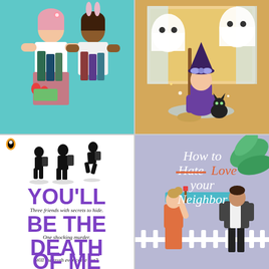[Figure (illustration): Two people hugging and holding books and vegetables on a teal background]
[Figure (illustration): Chibi witch girl with black cat and broom, with ghost figures, in a shop setting]
[Figure (illustration): Book cover: You'll Be the Death of Me by Karen McManus. White background with three black silhouettes walking. Purple bold text with handwritten italic subtitles: Three friends with secrets to hide. One shocking murder. Will the truth ever come out?]
[Figure (illustration): Book cover: How to Hate (strikethrough) Love your Neighbor. Lavender background with illustrated man and woman near white picket fence and tropical plants.]